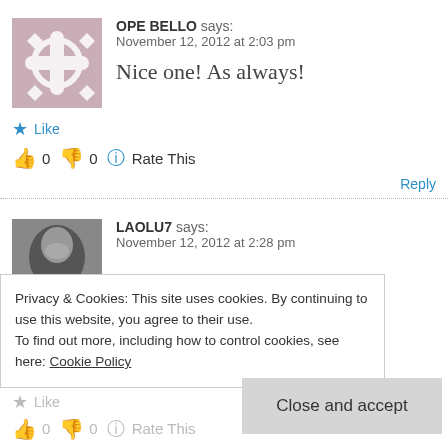[Figure (illustration): Avatar placeholder with geometric flower/star pattern in mauve/pink color]
OPE BELLO says:
November 12, 2012 at 2:03 pm

Nice one! As always!
Like
👍 0 👎 0 ℹ Rate This
Reply
[Figure (photo): Profile photo of a person (LAOLU7), close-up grayscale face]
LAOLU7 says:
November 12, 2012 at 2:28 pm
Privacy & Cookies: This site uses cookies. By continuing to use this website, you agree to their use.
To find out more, including how to control cookies, see here: Cookie Policy
Close and accept